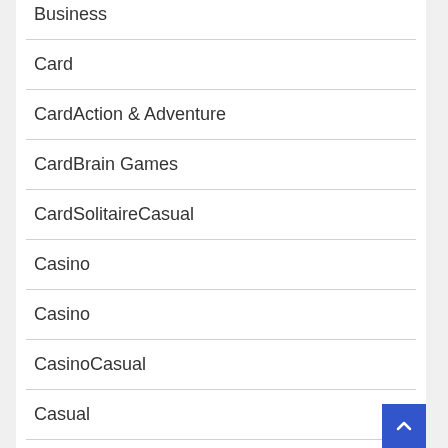Business
Card
CardAction & Adventure
CardBrain Games
CardSolitaireCasual
Casino
Casino
CasinoCasual
Casual